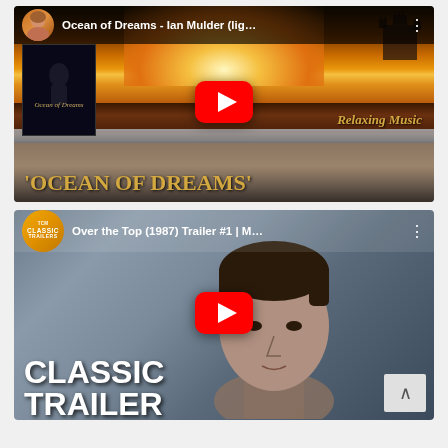[Figure (screenshot): YouTube video thumbnail for 'Ocean of Dreams - Ian Mulder (lig...' showing a beach ocean sunset scene with waves, a castle silhouette, a play button, album art inset of 'Ocean of Dreams', 'Relaxing Music' text, and large gold text 'OCEAN OF DREAMS' at the bottom.]
[Figure (screenshot): YouTube video thumbnail for 'Over the Top (1987) Trailer #1 | M...' showing a close-up portrait of a young man against a blurred background. Classic Trailers badge/logo in header. Large white bold text 'CLASSIC TRAILER' at bottom left. A scroll-up button at bottom right.]